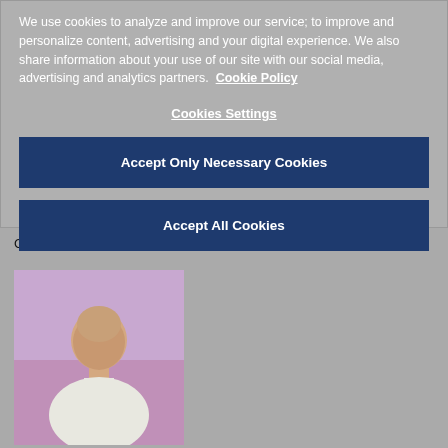We use cookies to analyze and improve our service; to improve and personalize content, advertising and your digital experience. We also share information about your use of our site with our social media, advertising and analytics partners. Cookie Policy
Cookies Settings
Accept Only Necessary Cookies
Accept All Cookies
Cannes on day-three
[Figure (photo): A bald man photographed against a purple/pink background]